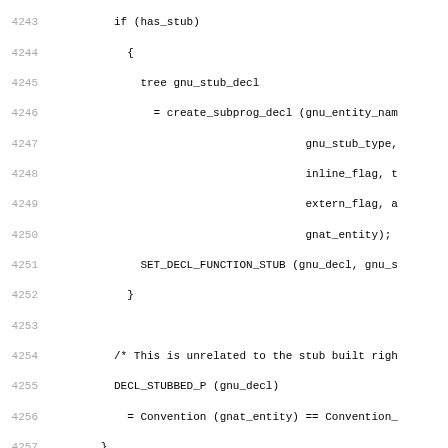[Figure (other): Source code listing (C/Ada code) with line numbers 4243-4274, showing code for stub declaration, SET_DECL_FUNCTION_STUB, DECL_STUBBED_P, break statement, case labels for E_Incomplete_Type, E_Incomplete_Subtype, E_Private_Type, E_Private_Subtype, E_Limited_Private_Type, E_Limited_Private_Subtype, E_Record_Type_With_Private, E_Record_Subtype_With_Private, and a comment about getting full view of entity.]